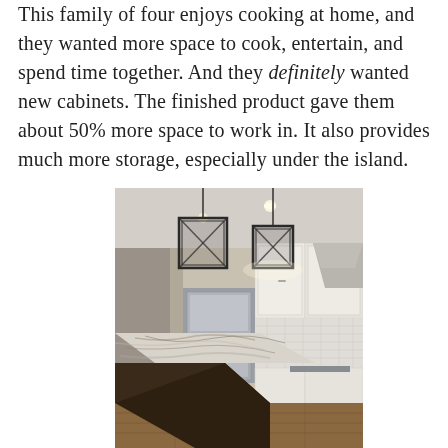This family of four enjoys cooking at home, and they wanted more space to cook, entertain, and spend time together. And they definitely wanted new cabinets. The finished product gave them about 50% more space to work in. It also provides much more storage, especially under the island.
[Figure (photo): Interior photo of a renovated kitchen showing a large granite-topped island in the foreground, white cabinets, stainless steel double oven, subway tile backsplash, range hood, and two black pendant lights hanging from the ceiling.]